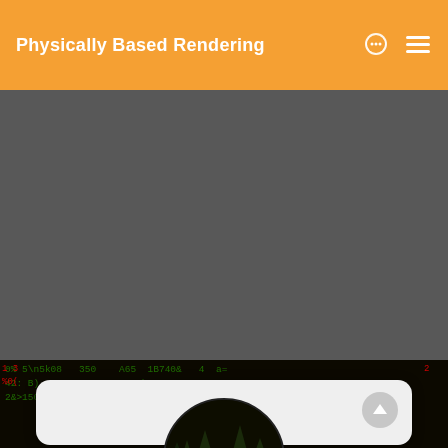Physically Based Rendering
[Figure (screenshot): Dark gray empty content area, main body of a web page]
[Figure (screenshot): Dark background with green and red matrix-style code/number characters, with a circular avatar showing a dark forest scene with green and red lights, and a white card overlay with an up-arrow button]